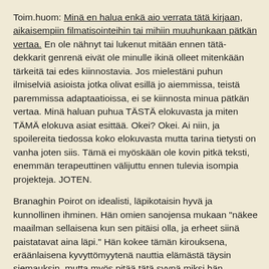Toim.huom: Minä en halua enkä aio verrata tätä kirjaan, aikaisempiin filmatisointeihin tai mihiin muuhunkaan pätkän vertaa. En ole nähnyt tai lukenut mitään ennen tätä- dekkarit genrenä eivät ole minulle ikinä olleet mitenkään tärkeitä tai edes kiinnostavia. Jos mielestäni puhun ilmiselviä asioista jotka olivat esillä jo aiemmissa, teistä paremmissa adaptaatioissa, ei se kiinnosta minua pätkän vertaa. Minä haluan puhua TÄSTÄ elokuvasta ja miten TÄMÄ elokuva asiat esittää. Okei? Okei. Ai niin, ja spoilereita tiedossa koko elokuvasta mutta tarina tietysti on vanha joten siis. Tämä ei myöskään ole kovin pitkä teksti, enemmän terapeuttinen välijuttu ennen tulevia isompia projekteja. JOTEN.
Branaghin Poirot on idealisti, läpikotaisin hyvä ja kunnollinen ihminen. Hän omien sanojensa mukaan "näkee maailman sellaisena kun sen pitäisi olla, ja erheet siinä paistatavat aina läpi." Hän kokee tämän kirouksena, eräänlaisena kyvyttömyytenä nauttia elämästä täysin siemauksin, mutta myös pitää tätä syynä miksi hän soveltuu rikosten selvittämiseen niin hyvin. Branagh on pitkälti idealisti; hän näkee hyvyyttä sielä missä sitä ei muuten ole, ja hän